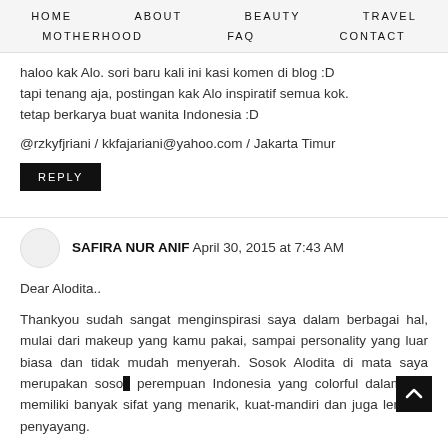HOME  ABOUT  BEAUTY  TRAVEL  MOTHERHOOD  FAQ  CONTACT
haloo kak Alo. sori baru kali ini kasi komen di blog :D tapi tenang aja, postingan kak Alo inspiratif semua kok. tetap berkarya buat wanita Indonesia :D
@rzkyfjriani / kkfajariani@yahoo.com / Jakarta Timur
REPLY
SAFIRA NUR ANIF April 30, 2015 at 7:43 AM
Dear Alodita..
Thankyou sudah sangat menginspirasi saya dalam berbagai hal, mulai dari makeup yang kamu pakai, sampai personality yang luar biasa dan tidak mudah menyerah. Sosok Alodita di mata saya merupakan sosok perempuan Indonesia yang colorful dalam arti memiliki banyak sifat yang menarik, kuat-mandiri dan juga lembut-penyayang.